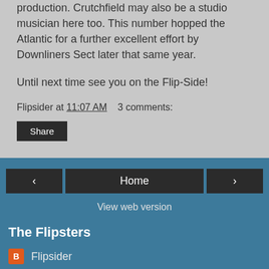production. Crutchfield may also be a studio musician here too. This number hopped the Atlantic for a further excellent effort by Downliners Sect later that same year.
Until next time see you on the Flip-Side!
Flipsider at 11:07 AM    3 comments:
Share
‹
Home
›
View web version
The Flipsters
Flipsider
On The Flip-Side
Powered by Blogger.